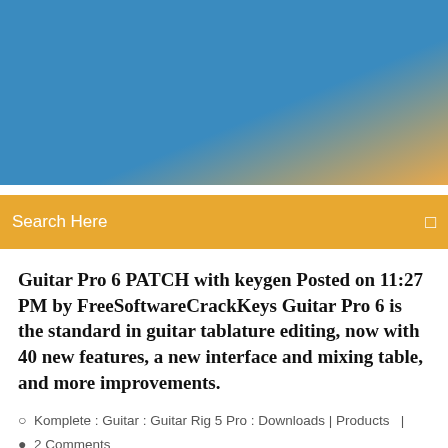[Figure (photo): Blue and golden/orange gradient header banner image]
Search Here
Guitar Pro 6 PATCH with keygen Posted on 11:27 PM by FreeSoftwareCrackKeys Guitar Pro 6 is the standard in guitar tablature editing, now with 40 new features, a new interface and mixing table, and more improvements.
Komplete : Guitar : Guitar Rig 5 Pro : Downloads | Products  |  2 Comments
http://ah49.com/nppx/keyman-mac-os.html